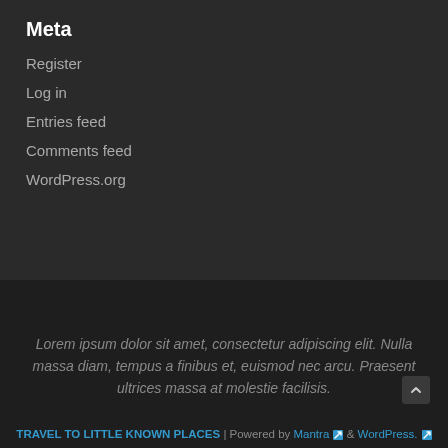Meta
Register
Log in
Entries feed
Comments feed
WordPress.org
Lorem ipsum dolor sit amet, consectetur adipiscing elit. Nulla massa diam, tempus a finibus et, euismod nec arcu. Praesent ultrices massa at molestie facilisis.
TRAVEL TO LITTLE KNOWN PLACES | Powered by Mantra & WordPress.